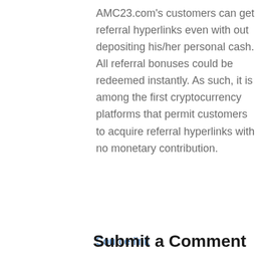AMC23.com's customers can get referral hyperlinks even with out depositing his/her personal cash. All referral bonuses could be redeemed instantly. As such, it is among the first cryptocurrency platforms that permit customers to acquire referral hyperlinks with no monetary contribution.
Source link
Submit a Comment